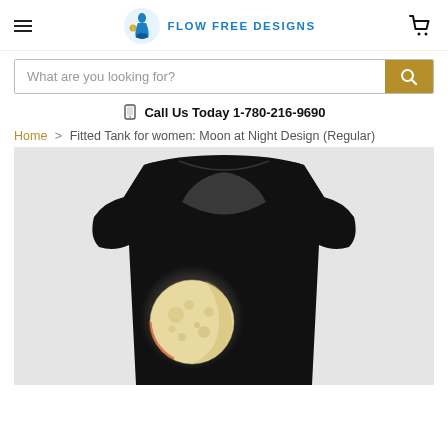Flow Free Designs — navigation header with hamburger menu, logo, and cart icon
What are you looking for?
Call Us Today 1-780-216-9690
Home > Fitted Tank for women: Moon at Night Design (Regular)
[Figure (photo): Black fitted women's tank top displayed on a mannequin form, featuring a full moon photograph on the lower left chest area, against a light grey background]